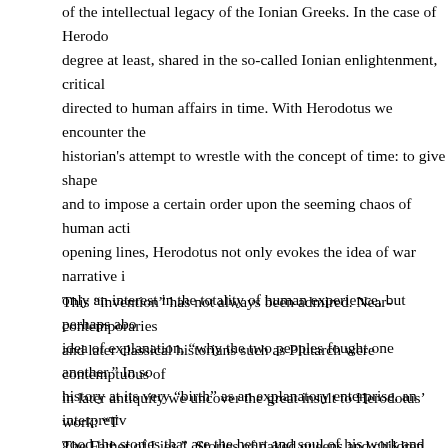of the intellectual legacy of the Ionian Greeks. In the case of Herodotus, degree at least, shared in the so-called Ionian enlightenment, critical directed to human affairs in time. With Herodotus we encounter the historian's attempt to wrestle with the concept of time: to give shape and to impose a certain order upon the seeming chaos of human acti opening lines, Herodotus not only evokes the idea of war narrative i only an interest in the totality of human experience, but perhaps abo idea of explanation, "why the two peoples fought one another." In so history at its very "birth" as an explanatory enterprise, an interpretiv good the stories that are the heart and soul of his work and however narrative, Herodotus was no mere storyteller. His "invention" was de entertain, but also to compare, to explain, and to interpret.
This "invention" has not always been admired. Near-contemporaries and later classical historians such as Plutarch were contemptuous of in later antiquity we uncover the great insult to Herodotus' work: "T The Father of Lies." Stories of naked queens and children served up by later practitioners of the historical art to demean history as a serio enterprise. This mélange of conventional stories and conventional w